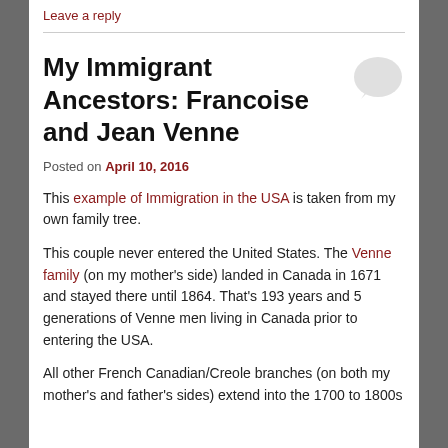Leave a reply
My Immigrant Ancestors: Francoise and Jean Venne
Posted on April 10, 2016
This example of Immigration in the USA is taken from my own family tree.
This couple never entered the United States. The Venne family (on my mother's side) landed in Canada in 1671 and stayed there until 1864. That's 193 years and 5 generations of Venne men living in Canada prior to entering the USA.
All other French Canadian/Creole branches (on both my mother's and father's sides) extend into the 1700 to 1800s